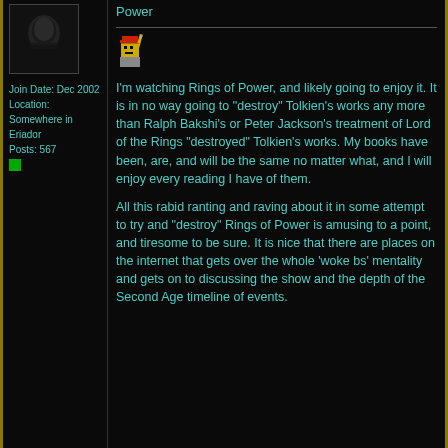Power
[Figure (photo): Avatar image of a dark figure on horseback, pixelated/stylized dark fantasy art]
Join Date: Dec 2002
Location: Somewhere in Eriador
Posts: 567
[Figure (illustration): Small pixel art emoji/avatar of a character with red hat and golden face]
I'm watching Rings of Power, and likely going to enjoy it. It is in no way going to "destroy" Tolkien's works any more than Ralph Bakshi's or Peter Jackson's treatment of Lord of the Rings "destroyed" Tolkien's works. My books have been, are, and will be the same no matter what, and I will enjoy every reading I have of them.
All this rabid ranting and raving about it in some attempt to try and "destroy" Rings of Power is amusing to a point, and tiresome to be sure. It is nice that there are places on the internet that gets over the whole 'woke bs' mentality and gets on to discussing the show and the depth of the Second Age timeline of events.